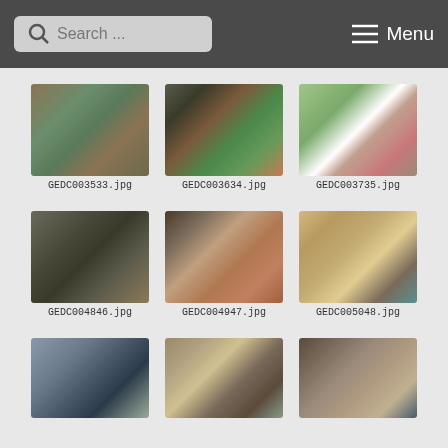Search ... Menu
[Figure (photo): Thumbnail photo: GEDC003533.jpg - construction concrete work]
GEDC003533.jpg
[Figure (photo): Thumbnail photo: GEDC003634.jpg - cement mixer on wheels]
GEDC003634.jpg
[Figure (photo): Thumbnail photo: GEDC003735.jpg - person working on concrete slab]
GEDC003735.jpg
[Figure (photo): Thumbnail photo: GEDC004846.jpg - vehicles under shed structure]
GEDC004846.jpg
[Figure (photo): Thumbnail photo: GEDC004947.jpg - open shed structure interior]
GEDC004947.jpg
[Figure (photo): Thumbnail photo: GEDC005048.jpg - shed interior with roof structure]
GEDC005048.jpg
[Figure (photo): Thumbnail photo: partially visible - shed interior with person]
[Figure (photo): Thumbnail photo: partially visible - open shed structure]
[Figure (photo): Thumbnail photo: partially visible - metal louver structure]